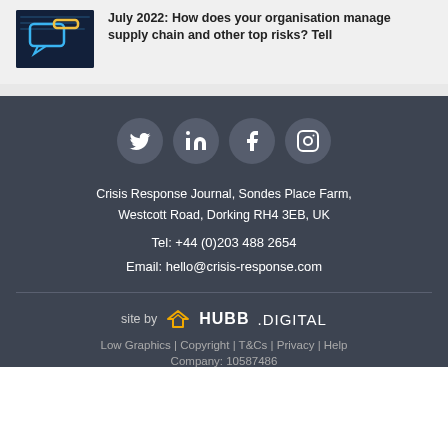July 2022: How does your organisation manage supply chain and other top risks? Tell
[Figure (infographic): Social media icons: Twitter, LinkedIn, Facebook, Instagram in circular buttons on dark background]
Crisis Response Journal, Sondes Place Farm, Westcott Road, Dorking RH4 3EB, UK
Tel:  +44 (0)203 488 2654
Email:  hello@crisis-response.com
[Figure (logo): HUBB.DIGITAL logo with yellow/orange bow-tie icon]
site by  HUBB.DIGITAL
Low Graphics | Copyright | T&Cs | Privacy | Help
Company: 10587486